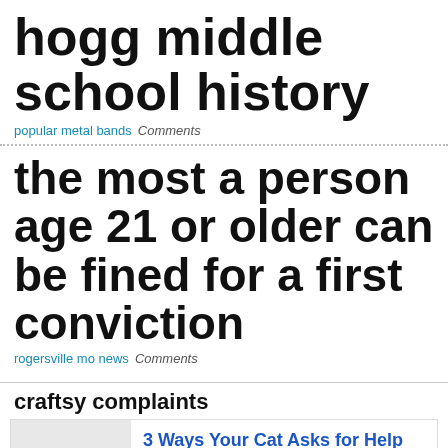hogg middle school history
popular metal bands   Comments
the most a person age 21 or older can be fined for a first conviction
rogersville mo news   Comments
craftsy complaints
3 Ways Your Cat Asks for Help
drmartypets.com